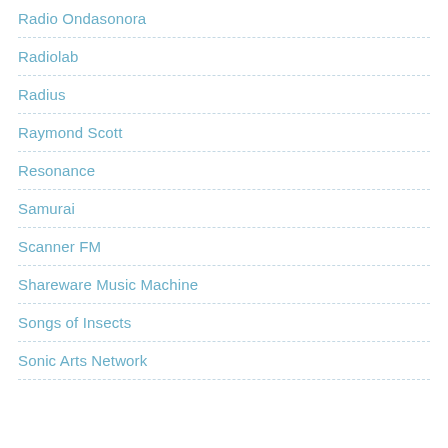Radio Ondasonora
Radiolab
Radius
Raymond Scott
Resonance
Samurai
Scanner FM
Shareware Music Machine
Songs of Insects
Sonic Arts Network